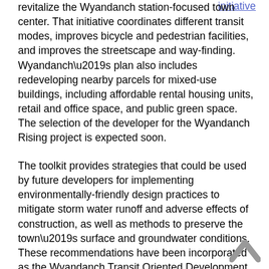revitalize the Wyandanch station-focused town center. That initiative coordinates different transit modes, improves bicycle and pedestrian facilities, and improves the streetscape and way-finding. Wyandanch’s plan also includes redeveloping nearby parcels for mixed-use buildings, including affordable rental housing units, retail and office space, and public green space. The selection of the developer for the Wyandanch Rising project is expected soon.
The toolkit provides strategies that could be used by future developers for implementing environmentally-friendly design practices to mitigate storm water runoff and adverse effects of construction, as well as methods to preserve the town’s surface and groundwater conditions. These recommendations have been incorporated as the Wyandanch Transit Oriented Development Conceptual Design, which forms a part of